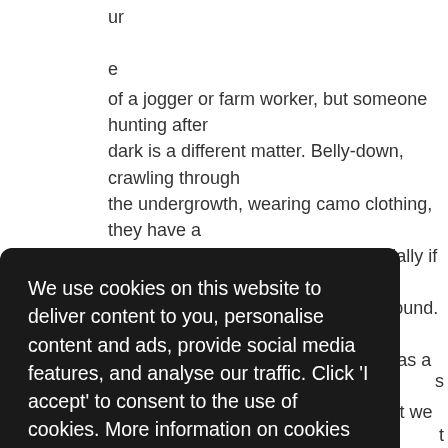ur

e

of a jogger or farm worker, but someone hunting after dark is a different matter. Belly-down, crawling through the undergrowth, wearing camo clothing, they have a much smaller heat signature, especially if they're partially hidden by a tree or a bump in the ground. The warm blob of their head is about the same size as a fox, and of course we're all prone to seeing what we want and
[Figure (screenshot): Cookie consent banner overlay with black background. Text reads: 'We use cookies on this website to deliver content to you, personalise content and ads, provide social media features, and analyse our traffic. Click 'I accept' to consent to the use of cookies. More information on cookies and how to manage them click here'. Yellow 'I Accept' button at bottom.]
s
t
at!
S